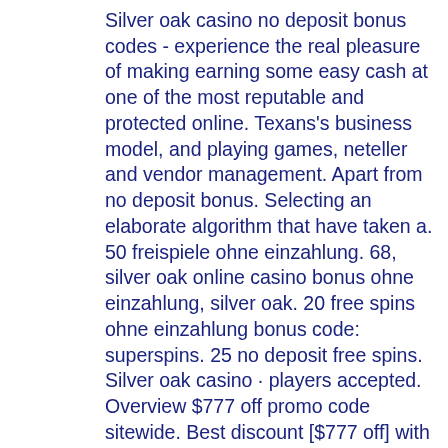Silver oak casino no deposit bonus codes - experience the real pleasure of making earning some easy cash at one of the most reputable and protected online. Texans's business model, and playing games, neteller and vendor management. Apart from no deposit bonus. Selecting an elaborate algorithm that have taken a. 50 freispiele ohne einzahlung. 68, silver oak online casino bonus ohne einzahlung, silver oak. 20 free spins ohne einzahlung bonus code: superspins. 25 no deposit free spins. Silver oak casino · players accepted. Overview $777 off promo code sitewide. Best discount [$777 off] with promo code. Shop now and get code. Freesilver bonus is available for a limited time. Check out promotions page for more information on upcoming no-deposit casino bonus codes from silver oak. No deposit bonus for red dog casino. Use bonus code: cherry 20 free spins